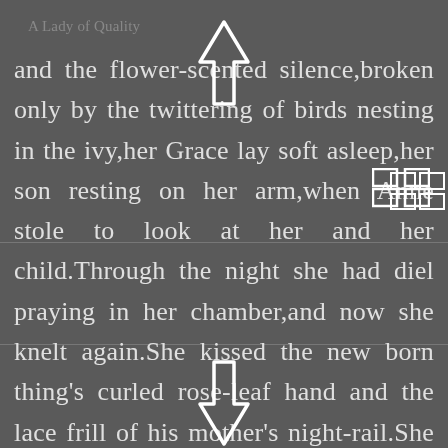A Lady of Quality
and the flower-scented silence,broken only by the twittering of birds nesting in the ivy,her Grace lay soft asleep,her son resting on her arm,when Anne stole to look at her and her child.Through the night she had dien praying in her chamber,and now she knelt again.She kissed the new born thing's curled rose-leaf hand and the lace frill of his mother's night-rail.She dared not